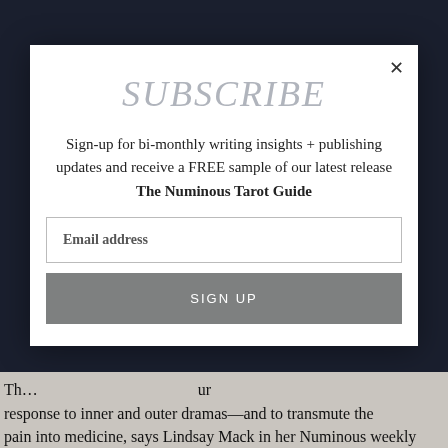SUBSCRIBE
Sign-up for bi-monthly writing insights + publishing updates and receive a FREE sample of our latest release
The Numinous Tarot Guide
Email address
SIGN UP
Th… response to inner and outer dramas—and to transmute the pain into medicine, says Lindsay Mack in her Numinous weekly